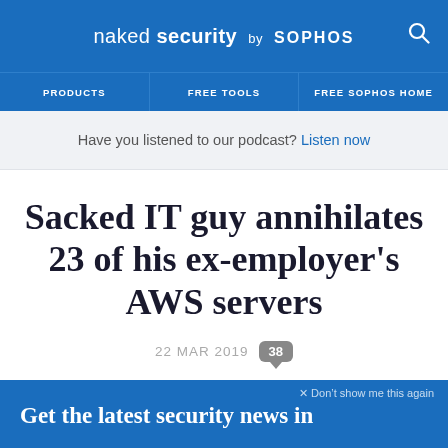naked security by SOPHOS
PRODUCTS | FREE TOOLS | FREE SOPHOS HOME
Have you listened to our podcast? Listen now
Sacked IT guy annihilates 23 of his ex-employer's AWS servers
22 MAR 2019  38
2-factor Authentication, Data loss, Law & order, Security threats
× Don't show me this again
Get the latest security news in